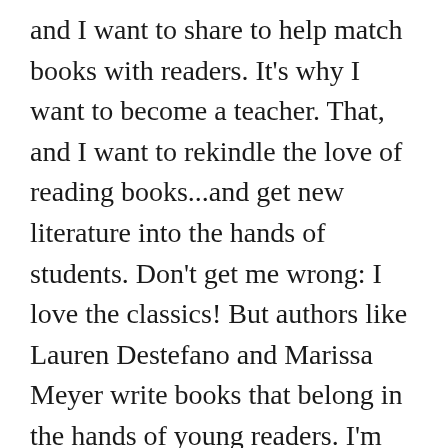and I want to share to help match books with readers. It's why I want to become a teacher. That, and I want to rekindle the love of reading books...and get new literature into the hands of students. Don't get me wrong: I love the classics! But authors like Lauren Destefano and Marissa Meyer write books that belong in the hands of young readers. I'm just the messenger. Please don't shoot me. If you would like to contact me regarding RaRs, please email me @ starlightshine83@aol.com. I mainly read YA science-fiction and fantasy, so those are the books I am most likely to agree to review. However, I am always open to help an indie